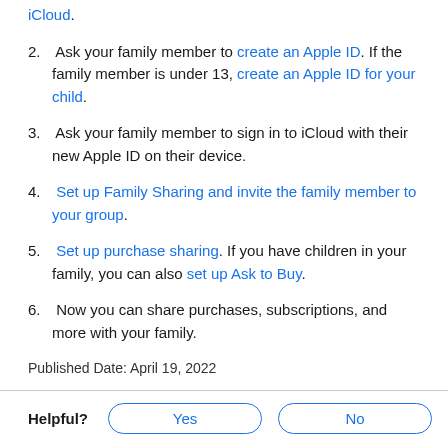iCloud.
2. Ask your family member to create an Apple ID. If the family member is under 13, create an Apple ID for your child.
3. Ask your family member to sign in to iCloud with their new Apple ID on their device.
4. Set up Family Sharing and invite the family member to your group.
5. Set up purchase sharing. If you have children in your family, you can also set up Ask to Buy.
6. Now you can share purchases, subscriptions, and more with your family.
Published Date: April 19, 2022
Helpful? Yes No